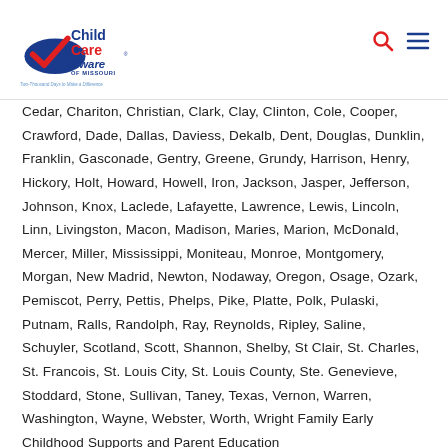Child Care Aware of Missouri — Two-Thousand Days to Make a Difference
Cedar, Chariton, Christian, Clark, Clay, Clinton, Cole, Cooper, Crawford, Dade, Dallas, Daviess, Dekalb, Dent, Douglas, Dunklin, Franklin, Gasconade, Gentry, Greene, Grundy, Harrison, Henry, Hickory, Holt, Howard, Howell, Iron, Jackson, Jasper, Jefferson, Johnson, Knox, Laclede, Lafayette, Lawrence, Lewis, Lincoln, Linn, Livingston, Macon, Madison, Maries, Marion, McDonald, Mercer, Miller, Mississippi, Moniteau, Monroe, Montgomery, Morgan, New Madrid, Newton, Nodaway, Oregon, Osage, Ozark, Pemiscot, Perry, Pettis, Phelps, Pike, Platte, Polk, Pulaski, Putnam, Ralls, Randolph, Ray, Reynolds, Ripley, Saline, Schuyler, Scotland, Scott, Shannon, Shelby, St Clair, St. Charles, St. Francois, St. Louis City, St. Louis County, Ste. Genevieve, Stoddard, Stone, Sullivan, Taney, Texas, Vernon, Warren, Washington, Wayne, Webster, Worth, Wright Family Early Childhood Supports and Parent Education